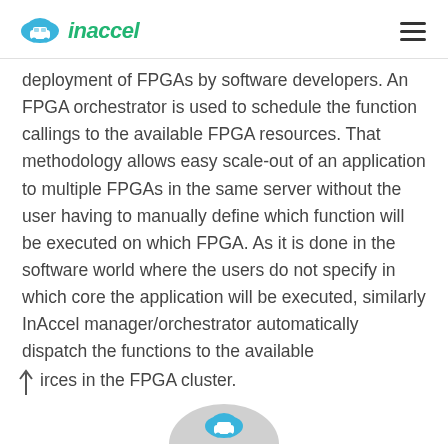inaccel
deployment of FPGAs by software developers. An FPGA orchestrator is used to schedule the function callings to the available FPGA resources. That methodology allows easy scale-out of an application to multiple FPGAs in the same server without the user having to manually define which function will be executed on which FPGA. As it is done in the software world where the users do not specify in which core the application will be executed, similarly InAccel manager/orchestrator automatically dispatch the functions to the available
irces in the FPGA cluster.